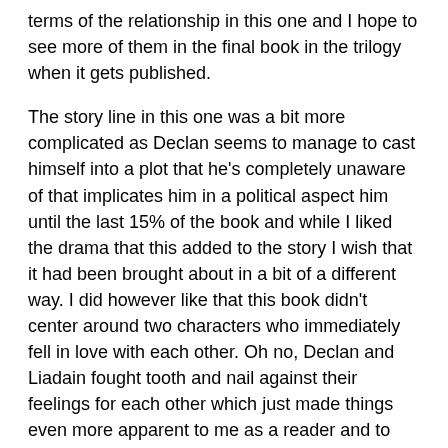terms of the relationship in this one and I hope to see more of them in the final book in the trilogy when it gets published.
The story line in this one was a bit more complicated as Declan seems to manage to cast himself into a plot that he's completely unaware of that implicates him in a political aspect him until the last 15% of the book and while I liked the drama that this added to the story I wish that it had been brought about in a bit of a different way. I did however like that this book didn't center around two characters who immediately fell in love with each other. Oh no, Declan and Liadain fought tooth and nail against their feelings for each other which just made things even more apparent to me as a reader and to the other characters in the book as well.
Overall, I thought that the pairing of Declan and Liadain was great. The chemistry from these two was just great and while there were a couple of love scenes in this one where as the first book in the trilogy had none, I would have liked to see a little more passion on behalf of the two of them but that is of course my preference. The writing was just as good as the first book except for the political part in the book that I felt